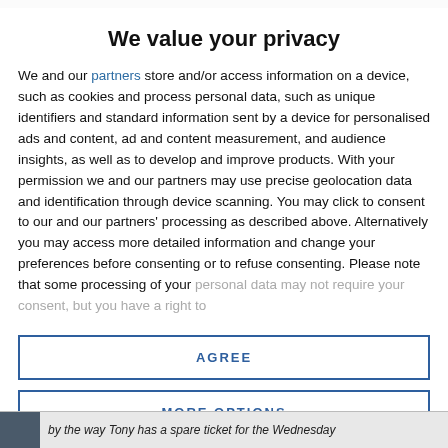We value your privacy
We and our partners store and/or access information on a device, such as cookies and process personal data, such as unique identifiers and standard information sent by a device for personalised ads and content, ad and content measurement, and audience insights, as well as to develop and improve products. With your permission we and our partners may use precise geolocation data and identification through device scanning. You may click to consent to our and our partners' processing as described above. Alternatively you may access more detailed information and change your preferences before consenting or to refuse consenting. Please note that some processing of your personal data may not require your consent, but you have a right to
AGREE
MORE OPTIONS
by the way Tony has a spare ticket for the Wednesday